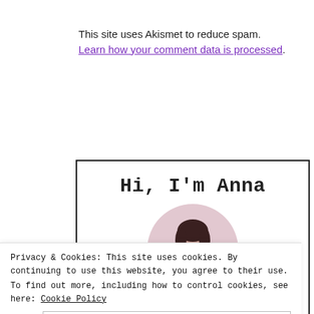This site uses Akismet to reduce spam. Learn how your comment data is processed.
[Figure (illustration): A sidebar card with 'Hi, I'm Anna' heading in bold monospace font, and a circular avatar showing a person against a pink/mauve background circle.]
Privacy & Cookies: This site uses cookies. By continuing to use this website, you agree to their use. To find out more, including how to control cookies, see here: Cookie Policy
Close and accept